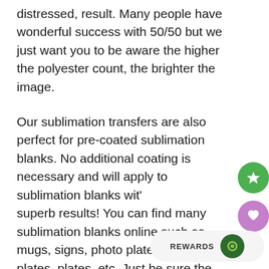distressed, result. Many people have wonderful success with 50/50 but we just want you to be aware the higher the polyester count, the brighter the image.
Our sublimation transfers are also perfect for pre-coated sublimation blanks. No additional coating is necessary and will apply to sublimation blanks with superb results! You can find many sublimation blanks online such as mugs, signs, photo plates, license plates, plates, etc. Just be sure the substrate is ready for sublimation - then apply your favorite design!